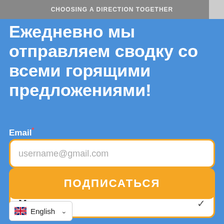CHOOSING A DIRECTION TOGETHER
Ежедневно мы отправляем сводку со всеми горящими предложениями!
Email*
username@gmail.com
Горящая рассылка из
Москвы
ПОДПИСАТЬСЯ
English